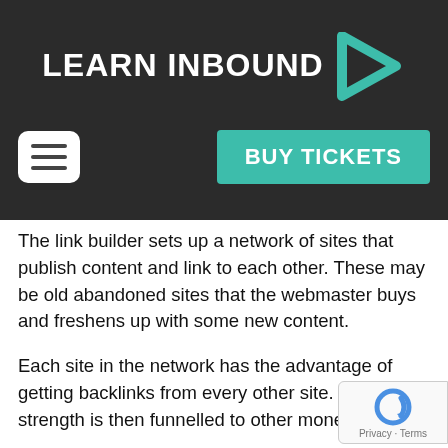[Figure (logo): Learn Inbound logo with teal right-pointing arrow chevron on dark background]
[Figure (other): Navigation row with hamburger menu icon (white rounded rectangle) on left and teal BUY TICKETS button on right]
The link builder sets up a network of sites that publish content and link to each other. These may be old abandoned sites that the webmaster buys and freshens up with some new content.
Each site in the network has the advantage of getting backlinks from every other site. This link strength is then funnelled to other money sites.
Despite all this work, it doesn't take long for Google to detect the unnatural connections. Some may take longer, but in the final analysis all PBNs fall.